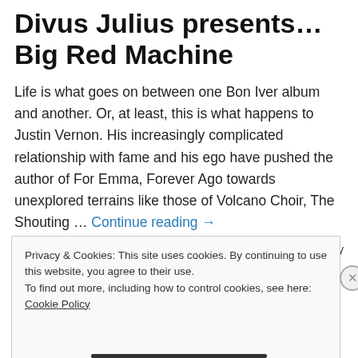Divus Julius presents…Big Red Machine
Life is what goes on between one Bon Iver album and another. Or, at least, this is what happens to Justin Vernon. His increasingly complicated relationship with fame and his ego have pushed the author of For Emma, Forever Ago towards unexplored terrains like those of Volcano Choir, The Shouting … Continue reading →
13 December, 2018
💬 Leave a Reply
Privacy & Cookies: This site uses cookies. By continuing to use this website, you agree to their use.
To find out more, including how to control cookies, see here: Cookie Policy